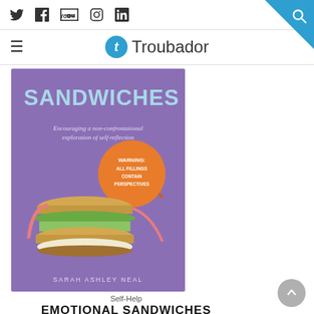Social icons: Twitter, Facebook, YouTube, Instagram, LinkedIn | Troubador logo | Search
[Figure (illustration): Book cover for 'Emotional Sandwiches' by Sarah Ashley Neal. Purple background, large light blue text reading SANDWICHES, subtitle 'Encouraging a non-confrontational exploration of self-reflection', orange circular warning sticker reading 'WARNING: ALL FILLINGS CONTAIN PERSPECTIVES', image of a sandwich with rhubarb stalks, author name SARAH ASHLEY NEAL at bottom.]
Self-Help
EMOTIONAL SANDWICHES
by Sarah Ashley Neal